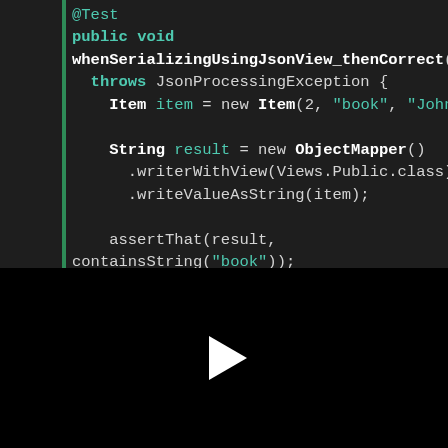[Figure (screenshot): Code editor screenshot showing Java test method with @Test annotation, public void whenSerializingUsingJsonView_thenCorrect() throws JsonProcessingException, creating an Item, using ObjectMapper with writerWithView(Views.Public.class).writeValueAsString(item), and assertThat assertions]
[Figure (other): Black video player area with a white play button triangle in the center]